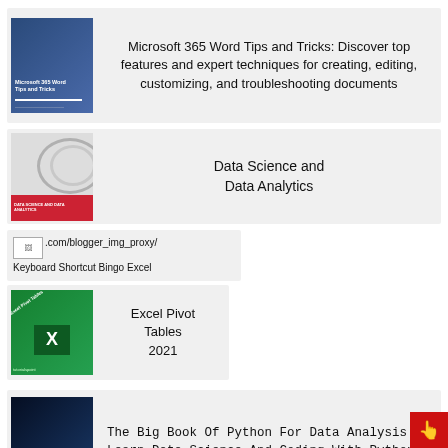[Figure (illustration): Book cover for Microsoft 365 Word Tips and Tricks with blue background]
Microsoft 365 Word Tips and Tricks: Discover top features and expert techniques for creating, editing, customizing, and troubleshooting documents
[Figure (illustration): Book cover for Data Science and Data Analytics with circular arc design and red stripe]
Data Science and Data Analytics
[Figure (illustration): Broken image placeholder showing .com/blogger_img_proxy/]
Keyboard Shortcut Bingo Excel
[Figure (illustration): Book cover for Excel Pivot Tables 2021 with green Excel logo]
Excel Pivot Tables 2021
[Figure (illustration): Book cover for The Big Book Of Python For Data Analysis with dark blue/teal neural network background]
The Big Book Of Python For Data Analysis: Learn Data Science And Coding With Python
[Figure (illustration): Partial book cover visible at bottom of page]